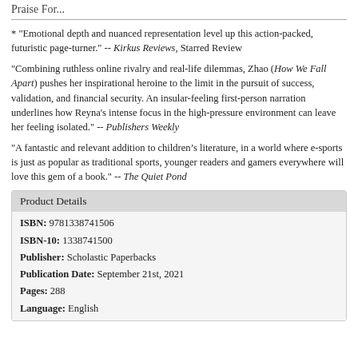Praise For...
* "Emotional depth and nuanced representation level up this action-packed, futuristic page-turner." -- Kirkus Reviews, Starred Review
"Combining ruthless online rivalry and real-life dilemmas, Zhao (How We Fall Apart) pushes her inspirational heroine to the limit in the pursuit of success, validation, and financial security. An insular-feeling first-person narration underlines how Reyna's intense focus in the high-pressure environment can leave her feeling isolated." -- Publishers Weekly
"A fantastic and relevant addition to children’s literature, in a world where e-sports is just as popular as traditional sports, younger readers and gamers everywhere will love this gem of a book." -- The Quiet Pond
Product Details
ISBN: 9781338741506
ISBN-10: 1338741500
Publisher: Scholastic Paperbacks
Publication Date: September 21st, 2021
Pages: 288
Language: English